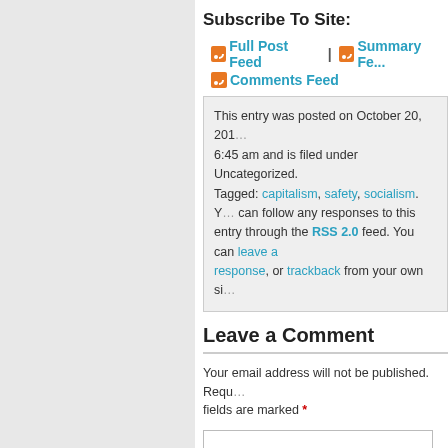Subscribe To Site:
Full Post Feed | Summary Fe... Comments Feed
This entry was posted on October 20, 201... 6:45 am and is filed under Uncategorized. Tagged: capitalism, safety, socialism. You can follow any responses to this entry through the RSS 2.0 feed. You can leave a response, or trackback from your own si...
Leave a Comment
Your email address will not be published. Required fields are marked *
Name *